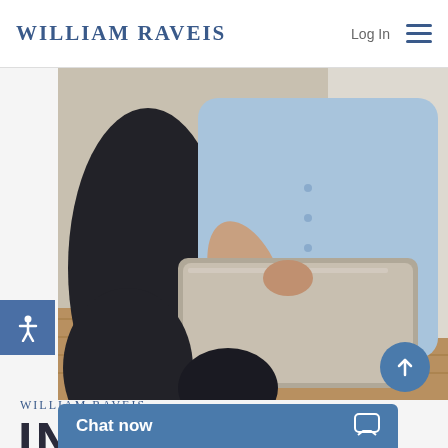William Raveis
Log In
[Figure (photo): Two people sitting on the floor against a wall; one person wearing a light blue shirt is using a laptop computer, with another person in dark pants visible beside them.]
William Raveis INSURANCE
Chat now